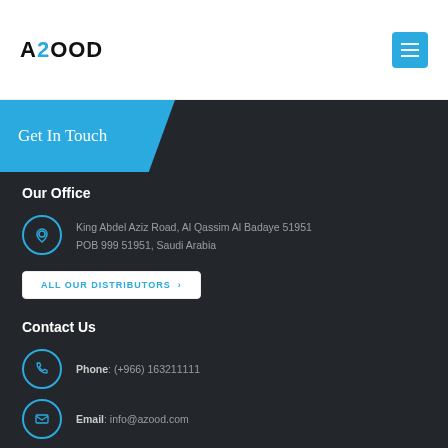AZOOD
Get In Touch
Our Office
King Abdel Aziz Road, Al Qassim Al Badaye 51951
POB 999 51951, Saudi Arabia
ALL OUR DISTRIBUTORS ›
Contact Us
Phone: (+966) 163211111
Email: info@azood.com